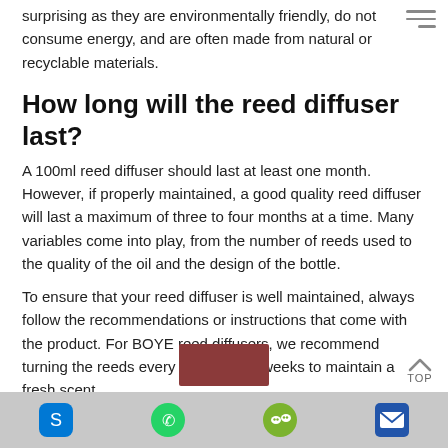surprising as they are environmentally friendly, do not consume energy, and are often made from natural or recyclable materials.
How long will the reed diffuser last?
A 100ml reed diffuser should last at least one month. However, if properly maintained, a good quality reed diffuser will last a maximum of three to four months at a time. Many variables come into play, from the number of reeds used to the quality of the oil and the design of the bottle.
To ensure that your reed diffuser is well maintained, always follow the recommendations or instructions that come with the product. For BOYE reed diffusers, we recommend turning the reeds every two to three weeks to maintain a fresh scent.
[Figure (photo): Product image partially visible at bottom]
Footer bar with Skype, WhatsApp, WeChat, and email icons